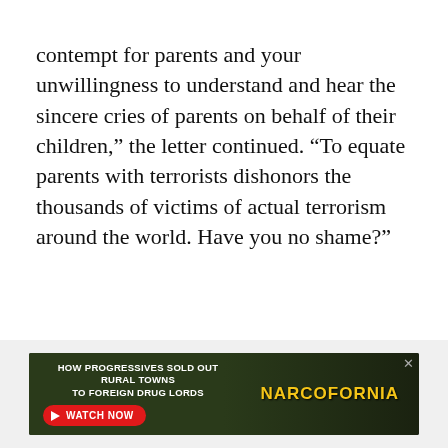contempt for parents and your unwillingness to understand and hear the sincere cries of parents on behalf of their children,” the letter continued. “To equate parents with terrorists dishonors the thousands of victims of actual terrorism around the world. Have you no shame?”
[Figure (other): Advertisement banner: 'HOW PROGRESSIVES SOLD OUT RURAL TOWNS TO FOREIGN DRUG LORDS' with a WATCH NOW button and NARCOFORNIA branding on a dark green leafy background]